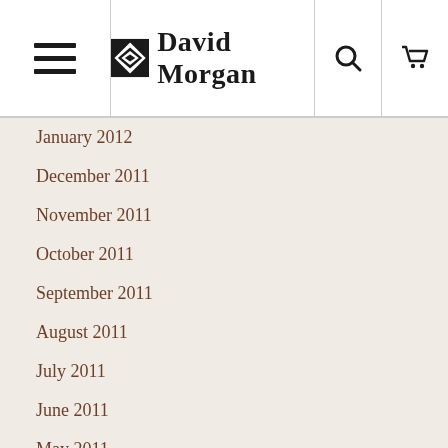David Morgan
January 2012
December 2011
November 2011
October 2011
September 2011
August 2011
July 2011
June 2011
May 2011
March 2011
February 2011